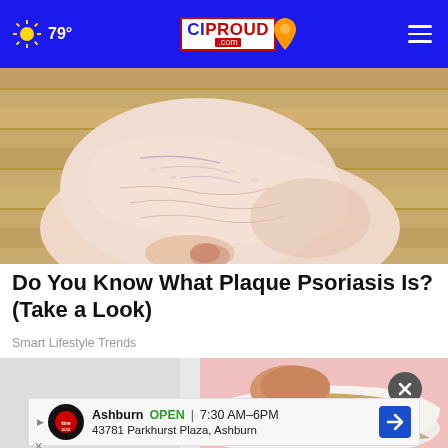79° CIProud.com
[Figure (photo): Close-up photo of a human foot/heel showing dry, cracked, scaly skin consistent with plaque psoriasis, on a wooden floor background]
Do You Know What Plaque Psoriasis Is? (Take a Look)
Smart Lifestyle Trends
[Figure (photo): Photo of a person wearing white slip-on shoes with gold accents, on a pink background, showing the ankle area]
Ashburn  OPEN  7:30 AM–6PM
43781 Parkhurst Plaza, Ashburn